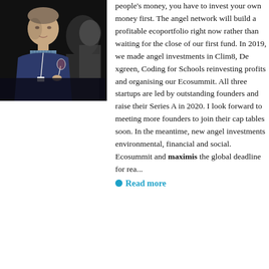[Figure (photo): A man in a dark blue sweater over a checked shirt, holding a glass, speaking with another person at what appears to be a networking event against a dark background.]
people's money, you have to invest your own money first. The angel network will build a profitable ecoport folio right now rather than waiting for the close of our first fund. In 2019, we made angel investments in Clim8, Dexgreen, Coding for Schools reinvesting profits and organising our Ecosummit. All three startups are led by outstanding founders and raise their Series A in 2020. I look forward to meeting more founders to join their cap tables soon. In the meantime, new angel investments evolve around environmental, financial and social. Ecosummit and maximis the global deadline for re...
Read more